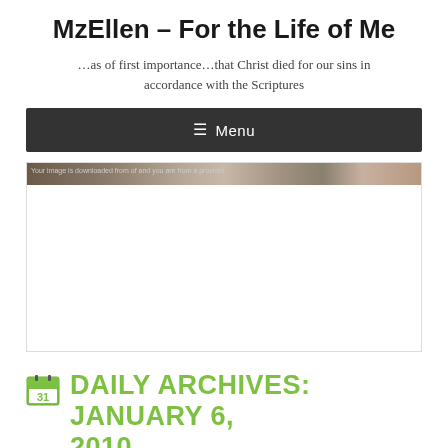MzEllen – For the Life of Me
…as of first importance…that Christ died for our sins in accordance with the Scriptures
[Figure (screenshot): Dark grey navigation bar with hamburger menu icon and 'Menu' text in white]
[Figure (photo): Partially loaded image placeholder showing a thin strip of a landscape photo at top with broken image indicator text, rest is white]
DAILY ARCHIVES: JANUARY 6, 2010